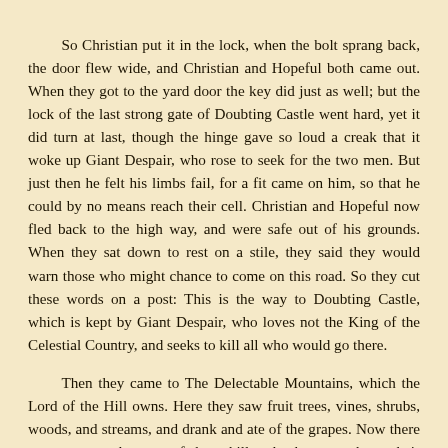So Christian put it in the lock, when the bolt sprang back, the door flew wide, and Christian and Hopeful both came out. When they got to the yard door the key did just as well; but the lock of the last strong gate of Doubting Castle went hard, yet it did turn at last, though the hinge gave so loud a creak that it woke up Giant Despair, who rose to seek for the two men. But just then he felt his limbs fail, for a fit came on him, so that he could by no means reach their cell. Christian and Hopeful now fled back to the high way, and were safe out of his grounds. When they sat down to rest on a stile, they said they would warn those who might chance to come on this road. So they cut these words on a post: This is the way to Doubting Castle, which is kept by Giant Despair, who loves not the King of the Celestial Country, and seeks to kill all who would go there.
Then they came to The Delectable Mountains, which the Lord of the Hill owns. Here they saw fruit trees, vines, shrubs, woods, and streams, and drank and ate of the grapes. Now there were men at the tops of these hills who kept watch on their flocks, and as they stood by the high way, Christian and Hopeful leant on their staves to rest, while thus they spoke to the men: Who owns these Delectable Mountains, and whose are the sheep that feed on them?
Men.—These hills are Immanuel's, and the sheep are His too, and He laid down his life for them.